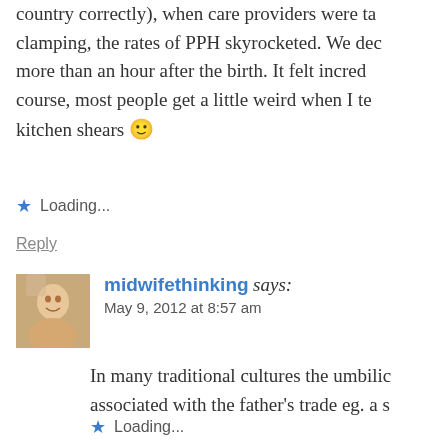country correctly), when care providers were taught early clamping, the rates of PPH skyrocketed. We dec more than an hour after the birth. It felt incred course, most people get a little weird when I te kitchen shears 🙂
Loading...
Reply
midwifethinking says: May 9, 2012 at 8:57 am
In many traditional cultures the umbilico associated with the father's trade eg. a s
Loading...
Reply
Miscellaneous says: